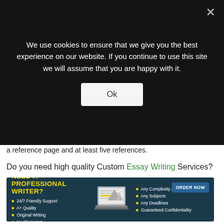We use cookies to ensure that we give you the best experience on our website. If you continue to use this site we will assume that you are happy with it.
Ok
a reference page and at least five references.
Do you need high quality Custom Essay Writing Services?
[Figure (infographic): Ad banner: NEED A PROFESSIONAL WRITER? ORDER NOW. Features: 24/7 Friendly Support, A+ Quality, Original Writing, No Plagiarism, Any Complexity & Level, Any Subjects, Any Deadlines, Guaranteed Confidentiality. Laptop image in center.]
[Figure (other): Broken image placeholder at bottom]